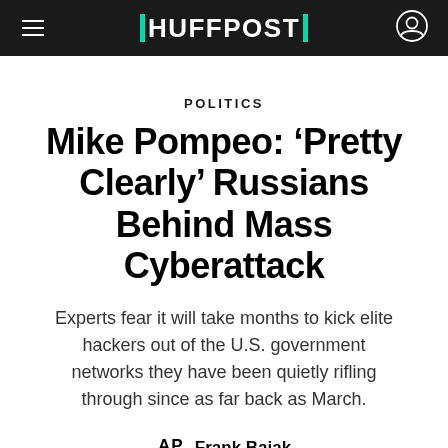HUFFPOST
POLITICS
Mike Pompeo: ‘Pretty Clearly’ Russians Behind Mass Cyberattack
Experts fear it will take months to kick elite hackers out of the U.S. government networks they have been quietly rifling through since as far back as March.
AP  Frank Bajak
Dec 19, 2020, 08:55 AM EST | Updated Dec 19, 2020